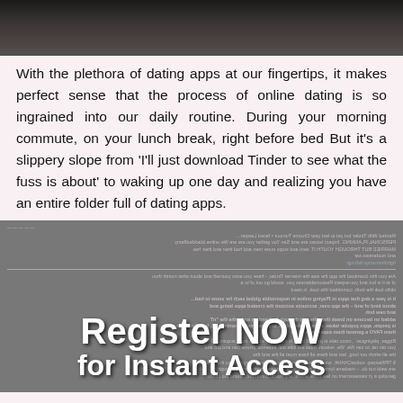[Figure (photo): Dark photo at top of page showing a person, cropped]
With the plethora of dating apps at our fingertips, it makes perfect sense that the process of online dating is so ingrained into our daily routine. During your morning commute, on your lunch break, right before bed But it's a slippery slope from 'I'll just download Tinder to see what the fuss is about' to waking up one day and realizing you have an entire folder full of dating apps.
[Figure (screenshot): Screenshot of a webpage article shown mirrored/reversed with overlaid text 'Register NOW for Instant Access' in large white bold letters]